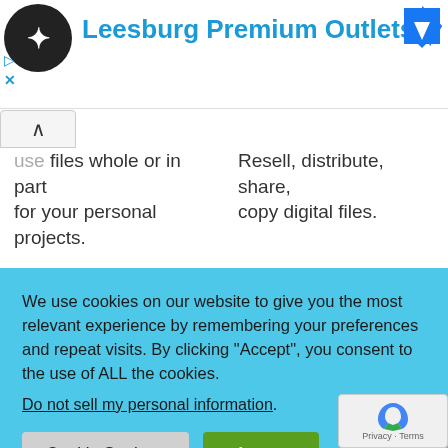[Figure (logo): Circular dark logo icon top left]
Leesburg Premium Outlets
Use files whole or in part for your personal projects.
Resell, distribute, share, copy digital files.
We use cookies on our website to give you the most relevant experience by remembering your preferences and repeat visits. By clicking “Accept”, you consent to the use of ALL the cookies. Do not sell my personal information.
Create a physical present for a friend or family member
including clothing, home wares, vinyl cutouts, canvasses and other products for resale or in physical retail o
Use in your own single
Use files on print on